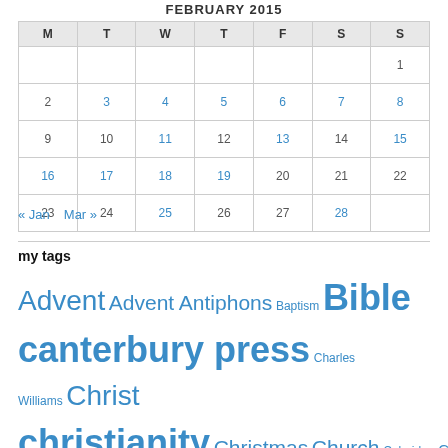FEBRUARY 2015
| M | T | W | T | F | S | S |
| --- | --- | --- | --- | --- | --- | --- |
|  |  |  |  |  |  | 1 |
| 2 | 3 | 4 | 5 | 6 | 7 | 8 |
| 9 | 10 | 11 | 12 | 13 | 14 | 15 |
| 16 | 17 | 18 | 19 | 20 | 21 | 22 |
| 23 | 24 | 25 | 26 | 27 | 28 |  |
« Jan   Mar »
my tags
Advent Advent Antiphons Baptism Bible canterbury press Charles Williams Christ christianity Christmas Church Coleridge Communion Controversy CS Lewis Dante David's Crown depression Easter